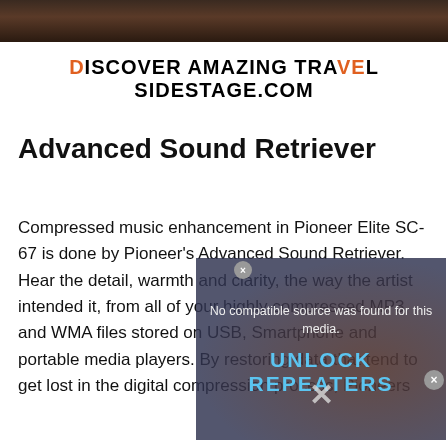[Figure (photo): Top portion of a photo, showing dark hair/fur texture cropped at the top of the page]
[Figure (other): Navigation arrows (< >) for an image carousel]
[Figure (other): Advertisement banner reading DISCOVER AMAZING TRAVEL SIDESTAGE.COM]
Advanced Sound Retriever
Compressed music enhancement in Pioneer Elite SC-67 is done by Pioneer's Advanced Sound Retriever. Hear the detail, warmth and clarity, the way the artist intended it, from all of your highly compressed MP3 and WMA files stored on USB, Smartphone and portable media players. By restoring data that tend to get lost in the digital compression process, Pioneers
[Figure (screenshot): Overlay video ad showing 'No compatible source was found for this media.' text with 'UNLOCK REPEATERS' branding and an X close button]